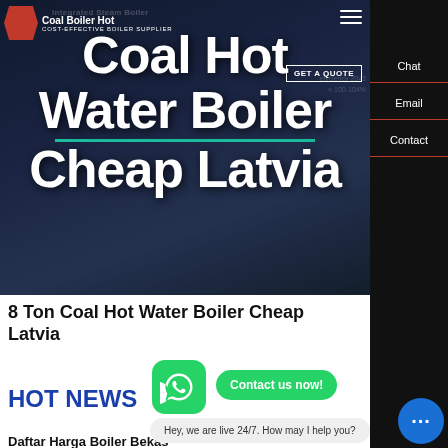[Figure (screenshot): Hero banner showing Coal Hot Water Boiler product page from a boiler supplier website. Background shows industrial boiler equipment. Large white text reads 'Coal Hot Water Boiler Cheap Latvia' with a teal underline. Logo in top left, hamburger menu top right, GET A QUOTE button visible.]
Coal Hot Water Boiler Cheap Latvia
8 Ton Coal Hot Water Boiler Cheap Latvia
HOT NEWS
Daftar Harga Boiler Bekas
Hey, we are live 24/7. How may I help you?